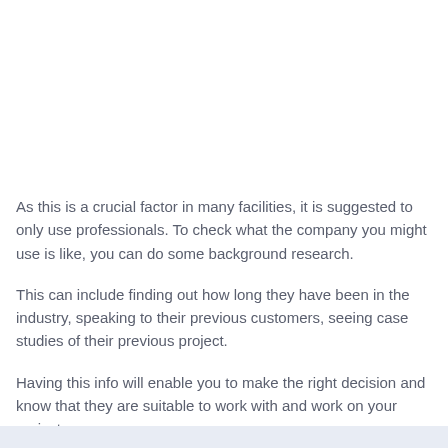As this is a crucial factor in many facilities, it is suggested to only use professionals. To check what the company you might use is like, you can do some background research.
This can include finding out how long they have been in the industry, speaking to their previous customers, seeing case studies of their previous project.
Having this info will enable you to make the right decision and know that they are suitable to work with and work on your project.
Other Systems We Offer